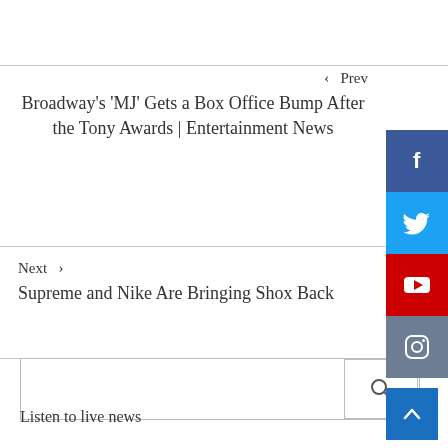‹  Prev
Broadway's 'MJ' Gets a Box Office Bump After the Tony Awards | Entertainment News
Next  ›
Supreme and Nike Are Bringing Shox Back
Listen to live news